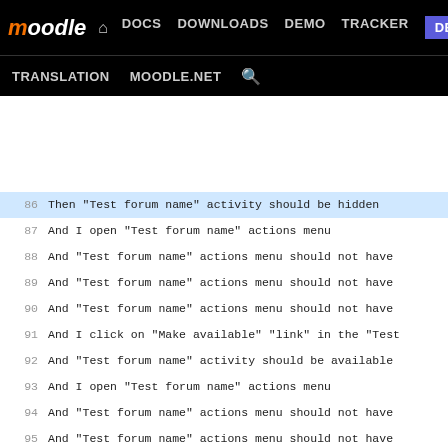Moodle | DOCS DOWNLOADS DEMO TRACKER DEV | TRANSLATION MOODLE.NET
86  Then "Test forum name" activity should be hidden
87  And I open "Test forum name" actions menu
88  And "Test forum name" actions menu should not have
89  And "Test forum name" actions menu should not have
90  And "Test forum name" actions menu should not have
91  And I click on "Make available" "link" in the "Test
92  And "Test forum name" activity should be available
93  And I open "Test forum name" actions menu
94  And "Test forum name" actions menu should not have
95  And "Test forum name" actions menu should not have
96  And "Test forum name" actions menu should not have
97  And I click on "Make unavailable" "link" in the "Te
98  And "Test forum name" activity should be hidden
99  # Make sure that "Availability" dropdown in the edi
100  And I open "Test forum name" actions menu
101  And I click on "Edit settings" "link" in the "Test
102  And I expand all fieldsets
103  And the "Availability" select box should contain "H
104  And the "Availability" select box should contain "M
105  And the "Availability" select box should not contai
106  And I set the field "Availability" to "Make availab
107  And I press "Save and return to course"
108  And "Test forum name" activity should be available
109  And I turn editing mode off
110  And "Test forum name" activity should be available
111  And I log out
112  # Student will not see the module on the course pa